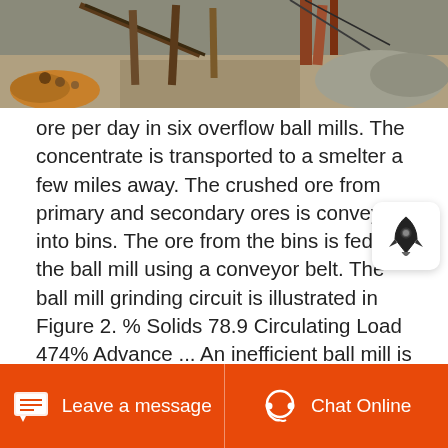[Figure (photo): Aerial/ground view of a mining site with heavy equipment, conveyor structures, and excavated terrain with piles of ore and dirt.]
ore per day in six overflow ball mills. The concentrate is transported to a smelter a few miles away. The crushed ore from primary and secondary ores is conveyed into bins. The ore from the bins is fed into the ball mill using a conveyor belt. The ball mill grinding circuit is illustrated in Figure 2. % Solids 78.9 Circulating Load 474% Advance ... An inefficient ball mill is a major expense and could even cost you product quality. The best ball mills enable you to achieve the desired fineness quickly and efficiently, with minimum energy expenditure and low maintenance. With more than 4000 references worldwide, the FLSmidth ball mill
Leave a message   Chat Online